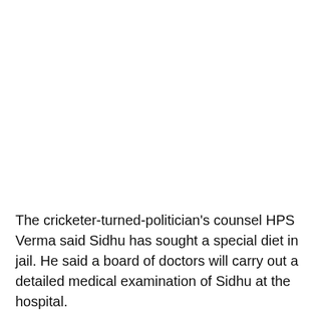The cricketer-turned-politician's counsel HPS Verma said Sidhu has sought a special diet in jail. He said a board of doctors will carry out a detailed medical examination of Sidhu at the hospital.